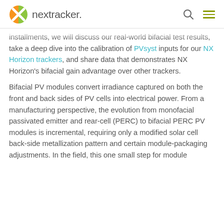nextracker
installments, we will discuss our real-world bifacial test results, take a deep dive into the calibration of PVsyst inputs for our NX Horizon trackers, and share data that demonstrates NX Horizon's bifacial gain advantage over other trackers.
Bifacial PV modules convert irradiance captured on both the front and back sides of PV cells into electrical power. From a manufacturing perspective, the evolution from monofacial passivated emitter and rear-cell (PERC) to bifacial PERC PV modules is incremental, requiring only a modified solar cell back-side metallization pattern and certain module-packaging adjustments. In the field, this one small step for module